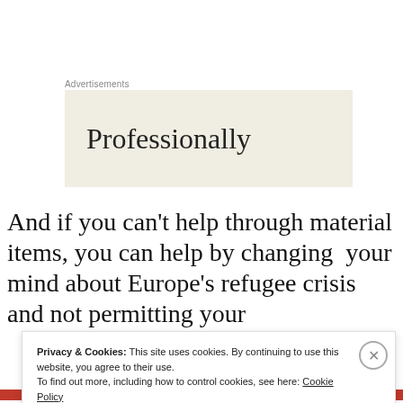Advertisements
[Figure (other): Advertisement banner with beige/cream background showing the word 'Professionally' in large serif font]
And if you can't help through material items, you can help by changing  your mind about Europe's refugee crisis and not permitting your
Privacy & Cookies: This site uses cookies. By continuing to use this website, you agree to their use.
To find out more, including how to control cookies, see here: Cookie Policy
Close and accept